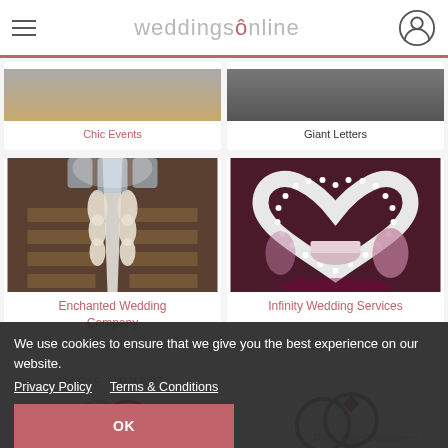weddingsonline
Chic Events
Giant Letters
[Figure (photo): Church wedding aisle decorated with flowers and floral arrangements]
Enchanted Wedding Company
[Figure (photo): Heart-shaped illuminated mirror frame with LED lights at a wedding venue]
Infinity Wedding Services
[Figure (logo): Magic Moment logo with rings graphic]
[Figure (logo): Rosewater Weddings logo with ring graphic]
We use cookies to ensure that we give you the best experience on our website.
Privacy Policy   Terms & Conditions
OK